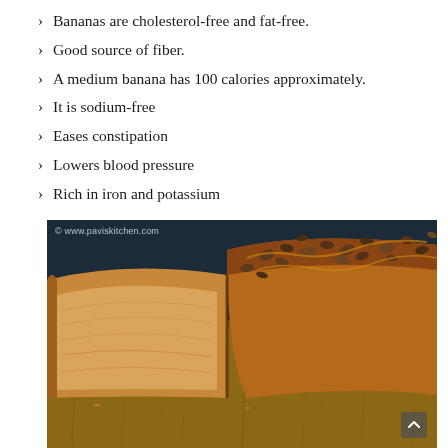Bananas are cholesterol-free and fat-free.
Good source of fiber.
A medium banana has 100 calories approximately.
It is sodium-free
Eases constipation
Lowers blood pressure
Rich in iron and potassium
[Figure (photo): Close-up photo of sliced banana bread with nuts/pecans on top, placed on a wooden cutting board. Dark blue background. Watermark: © www.paviskitchen.com]